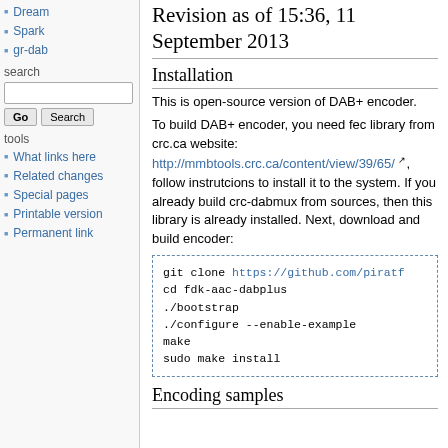Dream
Spark
gr-dab
search
tools
What links here
Related changes
Special pages
Printable version
Permanent link
Revision as of 15:36, 11 September 2013
Installation
This is open-source version of DAB+ encoder.
To build DAB+ encoder, you need fec library from crc.ca website:
http://mmbtools.crc.ca/content/view/39/65/
, follow instrutcions to install it to the system. If you already build crc-dabmux from sources, then this library is already installed. Next, download and build encoder:
git clone https://github.com/piratf
cd fdk-aac-dabplus
./bootstrap
./configure --enable-example
make
sudo make install
Encoding samples